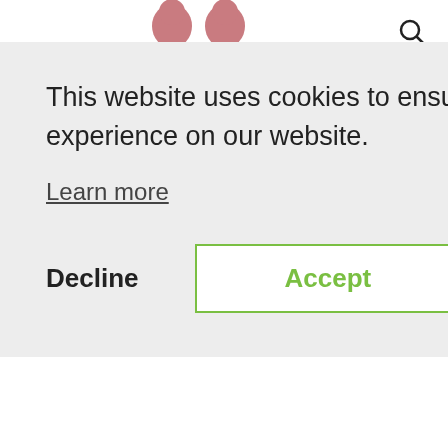[Figure (screenshot): Cookie consent modal overlay on a food/recipe website. Modal has gray background (#efefef), an X close button, text about cookie usage, a 'Learn more' underlined link, a 'Decline' bold text button, and an 'Accept' button with green border and green text. Behind the modal, partially visible bold title text (letters 'g...g') and the beginning of article body text about low FODMAP turkey burgers.]